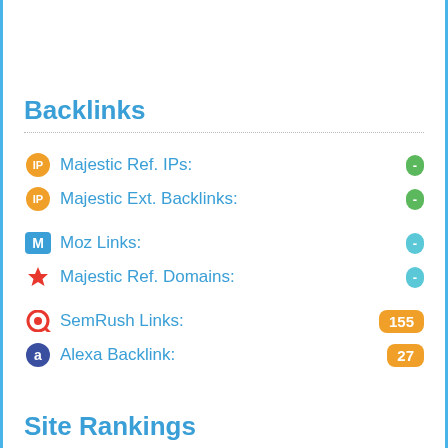Backlinks
Majestic Ref. IPs: -
Majestic Ext. Backlinks: -
Moz Links: -
Majestic Ref. Domains: -
SemRush Links: 155
Alexa Backlink: 27
Site Rankings